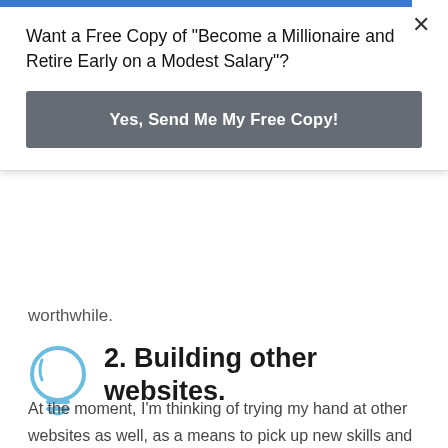Want a Free Copy of "Become a Millionaire and Retire Early on a Modest Salary"?
Yes, Send Me My Free Copy!
worthwhile.
2. Building other websites.
At the moment, I'm thinking of trying my hand at other websites as well, as a means to pick up new skills and pad my resume for when I do have to resume full-time work. I don't know for sure what